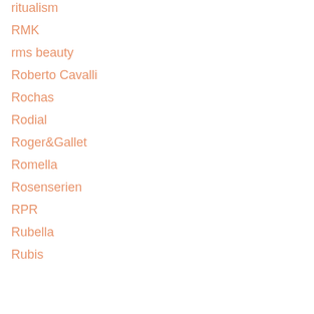ritualism
RMK
rms beauty
Roberto Cavalli
Rochas
Rodial
Roger&Gallet
Romella
Rosenserien
RPR
Rubella
Rubis